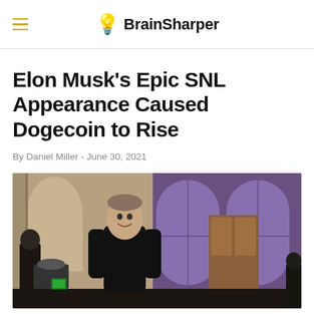BrainSharper
Elon Musk's Epic SNL Appearance Caused Dogecoin to Rise
By Daniel Miller - June 30, 2021
[Figure (photo): Elon Musk smiling on stage at Saturday Night Live, wearing all black, with the SNL set backdrop including arched windows lit in purple and warm tones visible behind him.]